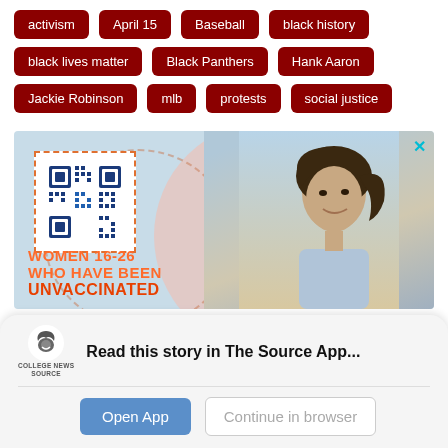activism
April 15
Baseball
black history
black lives matter
Black Panthers
Hank Aaron
Jackie Robinson
mlb
protests
social justice
[Figure (photo): Advertisement image showing a young woman with wind-blown hair, a QR code, and text: WOMEN 16-26 WHO HAVE BEEN UNVACCINATED]
Read this story in The Source App...
Open App
Continue in browser